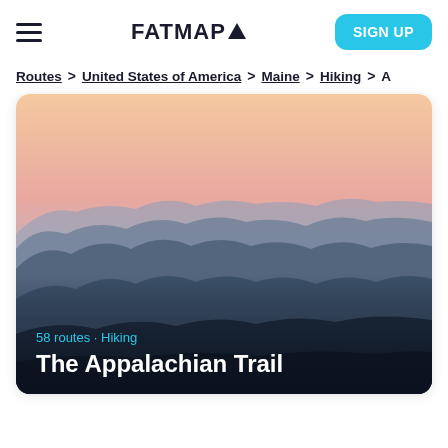FATMAP (logo) | hamburger menu | SIGN UP button
Routes > United States of America > Maine > Hiking > A
[Figure (photo): Mountain landscape at dusk/dawn with layered blue ridgelines receding into distance, orange-pink gradient sky at top, mist in valleys, dark foreground. Overlay text: '58 routes · Hiking' and 'The Appalachian Trail'.]